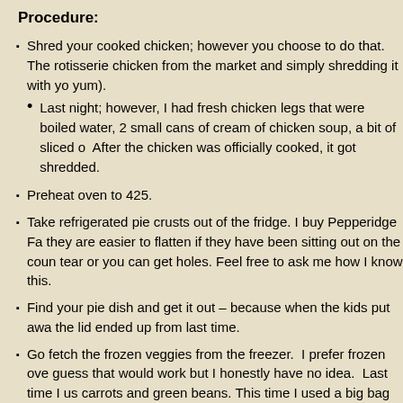Procedure:
Shred your cooked chicken; however you choose to do that.  The rotisserie chicken from the market and simply shredding it with yo yum).
Last night; however, I had fresh chicken legs that were boiled water, 2 small cans of cream of chicken soup, a bit of sliced o After the chicken was officially cooked, it got shredded.
Preheat oven to 425.
Take refrigerated pie crusts out of the fridge. I buy Pepperidge Fa they are easier to flatten if they have been sitting out on the coun tear or you can get holes. Feel free to ask me how I know this.
Find your pie dish and get it out – because when the kids put awa the lid ended up from last time.
Go fetch the frozen veggies from the freezer.  I prefer frozen ove guess that would work but I honestly have no idea.  Last time I us carrots and green beans. This time I used a big bag of frozen veg and okra, as well as green beans, peas and carrots.  The possibil
Now you need 2 more small cans of 'cream of chicken' soup, or u make your own 'cream of chicken soup', you may.  Pinterest has